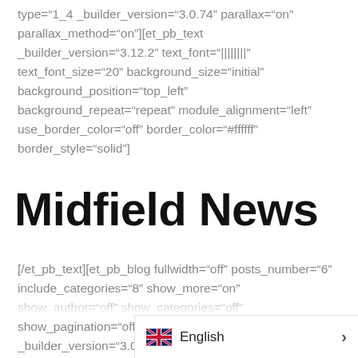type="1_4 _builder_version="3.0.74" parallax="on" parallax_method="on"][et_pb_text _builder_version="3.12.2" text_font="|||||||" text_font_size="20" background_size="initial" background_position="top_left" background_repeat="repeat" module_alignment="left" use_border_color="off" border_color="#ffffff" border_style="solid"]
Midfield News
[/et_pb_text][et_pb_blog fullwidth="off" posts_number="6" include_categories="8" show_more="on" show_author="off" show_categories="off" show_pagination="off" admin_label="Latest News" _builder_version="3.0.94" header_font="|on|||" header_f meta_font="|on|||" meta_font